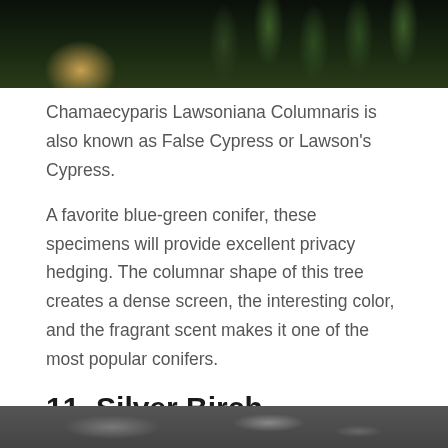[Figure (photo): Close-up photo of conifer/cypress foliage with dark green needles and blurred bokeh background]
Chamaecyparis Lawsoniana Columnaris is also known as False Cypress or Lawson's Cypress.
A favorite blue-green conifer, these specimens will provide excellent privacy hedging. The columnar shape of this tree creates a dense screen, the interesting color, and the fragrant scent makes it one of the most popular conifers.
11. Silver Birch
[Figure (photo): Partial view of a Silver Birch tree, showing bark and foliage at the bottom of the page]